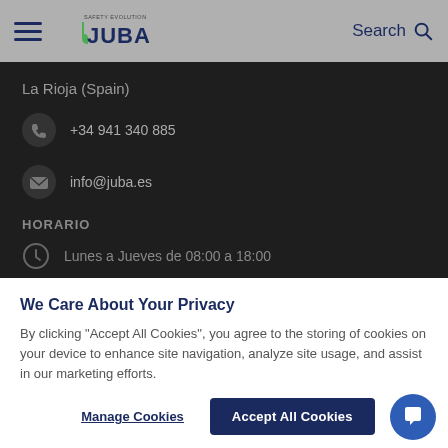JUBA Safety Evolution — Search
La Rioja (Spain)
+34 941 340 885
info@juba.es
HORARIO
Lunes a Jueves de 08:00 a 18:00
We Care About Your Privacy
By clicking "Accept All Cookies", you agree to the storing of cookies on your device to enhance site navigation, analyze site usage, and assist in our marketing efforts.
View our Privacy Policy.
Manage Cookies
Accept All Cookies